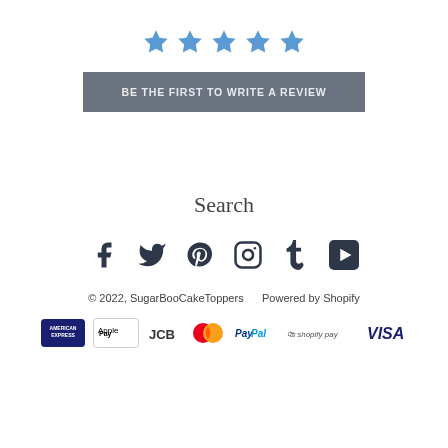[Figure (other): Five blue star rating icons in a row]
BE THE FIRST TO WRITE A REVIEW
Search
[Figure (other): Social media icons: Facebook, Twitter, Pinterest, Instagram, Tumblr, YouTube]
© 2022, SugarBooCakeToppers    Powered by Shopify
[Figure (other): Payment method icons: American Express, Apple Pay, JCB, Mastercard, PayPal, Shopify Pay, Visa]